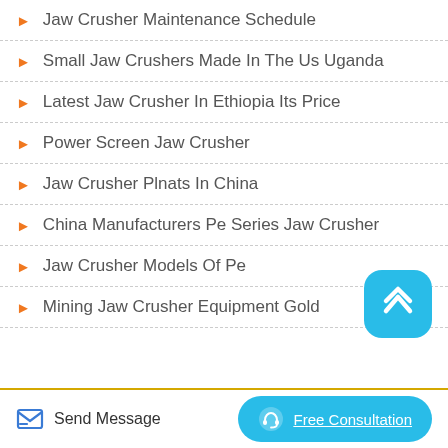Jaw Crusher Maintenance Schedule
Small Jaw Crushers Made In The Us Uganda
Latest Jaw Crusher In Ethiopia Its Price
Power Screen Jaw Crusher
Jaw Crusher Plnats In China
China Manufacturers Pe Series Jaw Crusher
Jaw Crusher Models Of Pe
Mining Jaw Crusher Equipment Gold
Send Message   Free Consultation